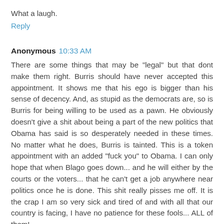What a laugh.
Reply
Anonymous  10:33 AM
There are some things that may be "legal" but that dont make them right. Burris should have never accepted this appointment. It shows me that his ego is bigger than his sense of decency. And, as stupid as the democrats are, so is Burris for being willing to be used as a pawn. He obviously doesn't give a shit about being a part of the new politics that Obama has said is so desperately needed in these times. No matter what he does, Burris is tainted. This is a token appointment with an added "fuck you" to Obama. I can only hope that when Blago goes down... and he will either by the courts or the voters... that he can't get a job anywhere near politics once he is done. This shit really pisses me off. It is the crap I am so very sick and tired of and with all that our country is facing, I have no patience for these fools... ALL of them!
............